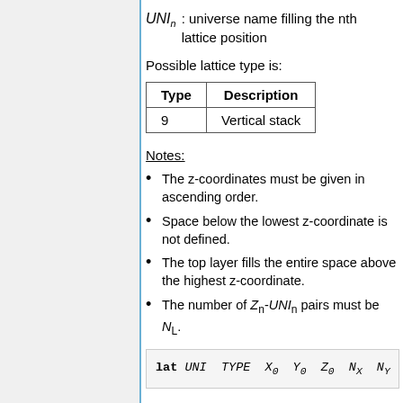UNI_n : universe name filling the nth lattice position
Possible lattice type is:
| Type | Description |
| --- | --- |
| 9 | Vertical stack |
Notes:
The z-coordinates must be given in ascending order.
Space below the lowest z-coordinate is not defined.
The top layer fills the entire space above the highest z-coordinate.
The number of Z_n-UNI_n pairs must be N_L.
lat UNI TYPE X_0 Y_0 Z_0 N_X N_Y N_Z N...